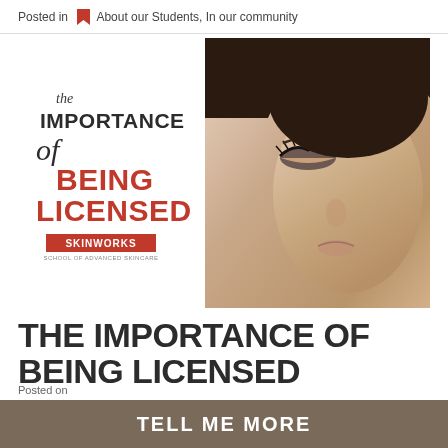Posted in  About our Students, In our community
[Figure (illustration): Promotional image for 'The Importance of Being Licensed' by Skinworks School of Advanced Skincare. Left side shows stylized text with 'the IMPORTANCE of BEING LICENSED' and the Skinworks logo. Right side shows a close-up photo of a woman's face with dramatic eye makeup.]
THE IMPORTANCE OF BEING LICENSED
Posted on
TELL ME MORE